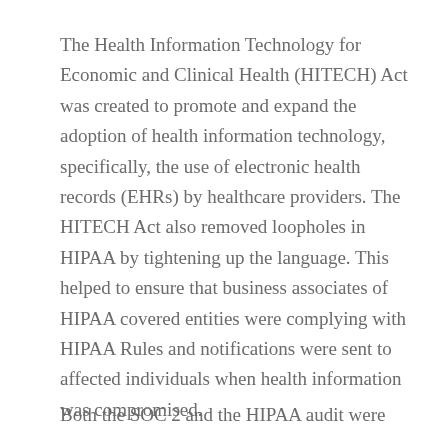The Health Information Technology for Economic and Clinical Health (HITECH) Act was created to promote and expand the adoption of health information technology, specifically, the use of electronic health records (EHRs) by healthcare providers. The HITECH Act also removed loopholes in HIPAA by tightening up the language. This helped to ensure that business associates of HIPAA covered entities were complying with HIPAA Rules and notifications were sent to affected individuals when health information was compromised.
Both the SOC 2 and the HIPAA audit were